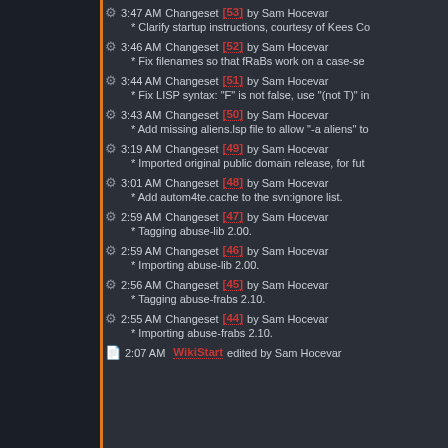3:47 AM Changeset [53] by Sam Hocevar
* Clarify startup instructions, courtesy of Kees Co
3:46 AM Changeset [52] by Sam Hocevar
* Fix filenames so that fRaBs work on a case-se
3:44 AM Changeset [51] by Sam Hocevar
* Fix LISP syntax: "F" is not false, use "(not T)" in
3:43 AM Changeset [50] by Sam Hocevar
* Add missing aliens.lsp file to allow "-a aliens" to
3:19 AM Changeset [49] by Sam Hocevar
* Imported original public domain release, for fut
3:01 AM Changeset [48] by Sam Hocevar
* Add autom4te.cache to the svn:ignore list.
2:59 AM Changeset [47] by Sam Hocevar
* Tagging abuse-lib 2.00.
2:59 AM Changeset [46] by Sam Hocevar
* Importing abuse-lib 2.00.
2:56 AM Changeset [45] by Sam Hocevar
* Tagging abuse-frabs 2.10.
2:55 AM Changeset [44] by Sam Hocevar
* Importing abuse-frabs 2.10.
2:07 AM WikiStart edited by Sam Hocevar